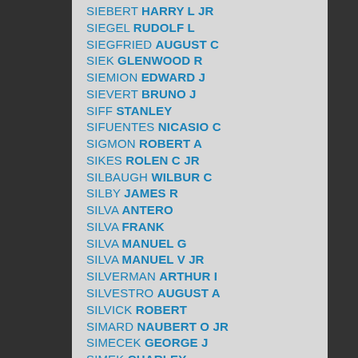SIEBERT HARRY L JR
SIEGEL RUDOLF L
SIEGFRIED AUGUST C
SIEK GLENWOOD R
SIEMION EDWARD J
SIEVERT BRUNO J
SIFF STANLEY
SIFUENTES NICASIO C
SIGMON ROBERT A
SIKES ROLEN C JR
SILBAUGH WILBUR C
SILBY JAMES R
SILVA ANTERO
SILVA FRANK
SILVA MANUEL G
SILVA MANUEL V JR
SILVERMAN ARTHUR I
SILVESTRO AUGUST A
SILVICK ROBERT
SIMARD NAUBERT O JR
SIMECEK GEORGE J
SIMEK CHARLEY
SIMKEWICZ JOSEPH R